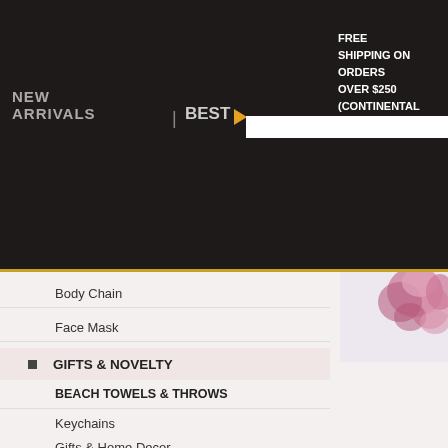NEW ARRIVALS | BEST ▶ FREE SHIPPING ON ORDERS OVER $250 (CONTINENTAL U.S. ONLY) Log In / Register | My Account | View Cart | Checkout
Body Chain
Face Mask
GIFTS & NOVELTY
BEACH TOWELS & THROWS
Keychains
Gifts & Home Decor
Tech Accessories
Brooches, Patches & Tattoos
Pet Accessories
Cosmetics
Spinners
SEAMLESS, APPAREL & MISC
SOCKS & LEG WARMERS
GLOVES
FOOTWEAR
[Figure (photo): Decorative floral image in pink/purple tones in top-right corner]